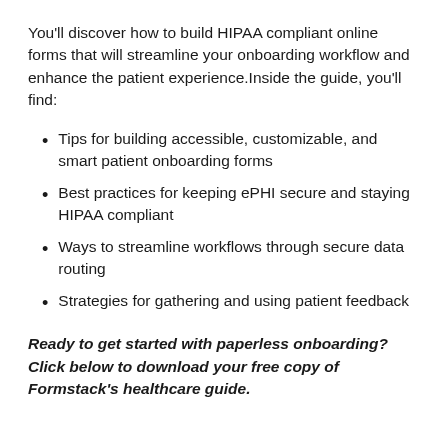You'll discover how to build HIPAA compliant online forms that will streamline your onboarding workflow and enhance the patient experience.Inside the guide, you'll find:
Tips for building accessible, customizable, and smart patient onboarding forms
Best practices for keeping ePHI secure and staying HIPAA compliant
Ways to streamline workflows through secure data routing
Strategies for gathering and using patient feedback
Ready to get started with paperless onboarding? Click below to download your free copy of Formstack's healthcare guide.